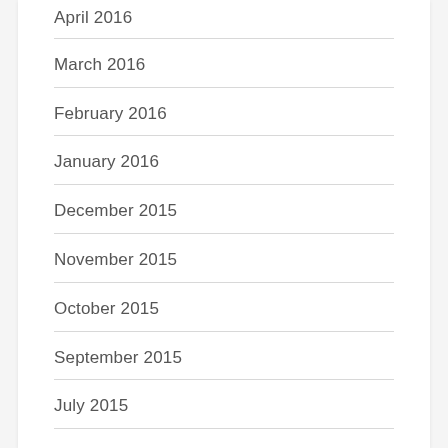April 2016
March 2016
February 2016
January 2016
December 2015
November 2015
October 2015
September 2015
July 2015
June 2015